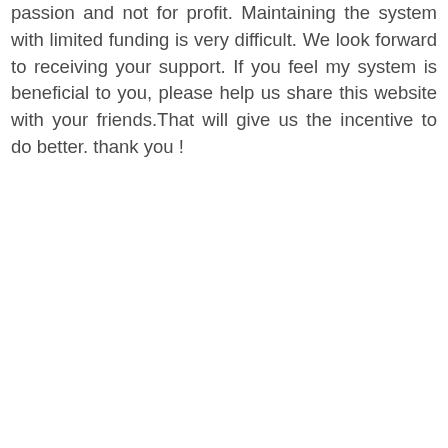passion and not for profit. Maintaining the system with limited funding is very difficult. We look forward to receiving your support. If you feel my system is beneficial to you, please help us share this website with your friends.That will give us the incentive to do better. thank you !